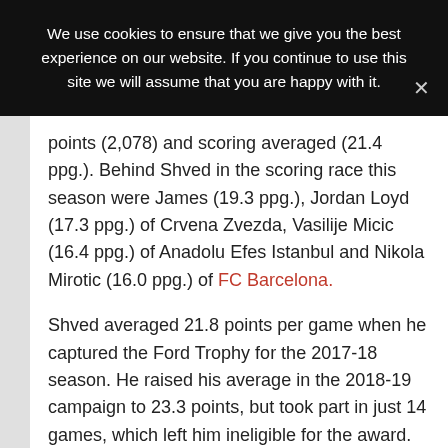We use cookies to ensure that we give you the best experience on our website. If you continue to use this site we will assume that you are happy with it.
points (2,078) and scoring averaged (21.4 ppg.). Behind Shved in the scoring race this season were James (19.3 ppg.), Jordan Loyd (17.3 ppg.) of Crvena Zvezda, Vasilije Micic (16.4 ppg.) of Anadolu Efes Istanbul and Nikola Mirotic (16.0 ppg.) of FC Barcelona.
Shved averaged 21.8 points per game when he captured the Ford Trophy for the 2017-18 season. He raised his average in the 2018-19 campaign to 23.3 points, but took part in just 14 games, which left him ineligible for the award. Shved was second in scoring in the 2019-20